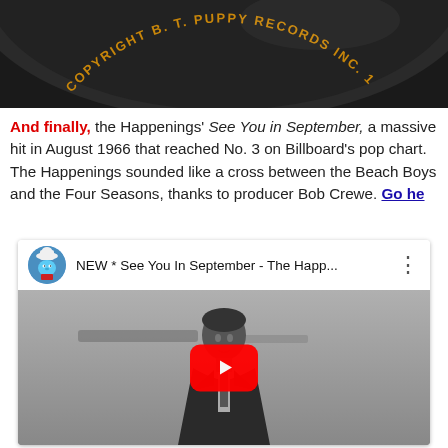[Figure (photo): Close-up of a vinyl record label showing text 'COPYRIGHT B. T. PUPPY RECORDS INC. 1...' in orange lettering on dark background]
And finally, the Happenings' See You in September, a massive hit in August 1966 that reached No. 3 on Billboard's pop chart. The Happenings sounded like a cross between the Beach Boys and the Four Seasons, thanks to producer Bob Crewe. Go he...
[Figure (screenshot): YouTube embedded video player showing 'NEW * See You In September - The Happ...' with a Smurf avatar, black and white video of a man in a suit singing outdoors, red play button in center]